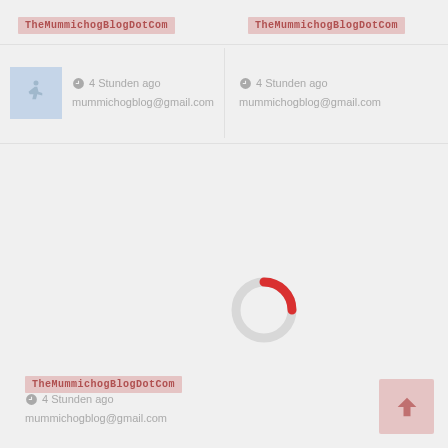[Figure (logo): TheMummichogBlogDotCom watermark top left]
[Figure (logo): TheMummichogBlogDotCom watermark top right]
4 Stunden ago
mummichogblog@gmail.com
4 Stunden ago
mummichogblog@gmail.com
[Figure (other): Loading spinner donut shape with red and grey arc, indicating content loading]
[Figure (logo): TheMummichogBlogDotCom watermark bottom left]
4 Stunden ago
mummichogblog@gmail.com
[Figure (other): Scroll to top button, pink/red arrow pointing up]